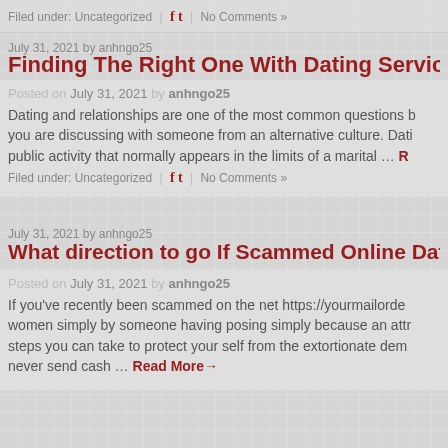Filed under: Uncategorized | [social icons] | No Comments »
July 31, 2021 by anhngo25
Finding The Right One With Dating Services Over the
Posted on July 31, 2021 by anhngo25
Dating and relationships are one of the most common questions b... you are discussing with someone from an alternative culture. Dati... public activity that normally appears in the limits of a marital … Read More
Filed under: Uncategorized | [social icons] | No Comments »
July 31, 2021 by anhngo25
What direction to go If Scammed Online Dating
Posted on July 31, 2021 by anhngo25
If you've recently been scammed on the net https://yourmailorde... women simply by someone having posing simply because an attr... steps you can take to protect your self from the extortionate dem... never send cash … Read More→